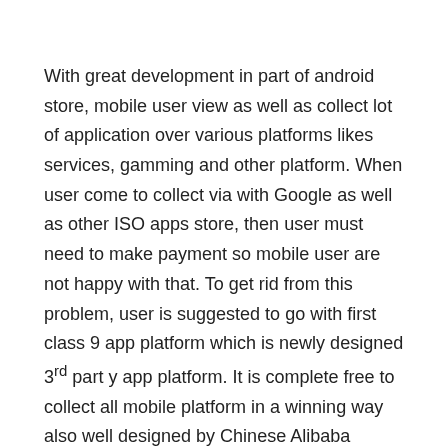With great development in part of android store, mobile user view as well as collect lot of application over various platforms likes services, gamming and other platform. When user come to collect via with Google as well as other ISO apps store, then user must need to make payment so mobile user are not happy with that. To get rid from this problem, user is suggested to go with first class 9 app platform which is newly designed 3rd part y app platform. It is complete free to collect all mobile platform in a winning way also well designed by Chinese Alibaba Group. it become more famous among user when it launched so customer have to go wish themes to make without meeting any trouble of it. Most of people hire such type of themes due to presence of huge games.